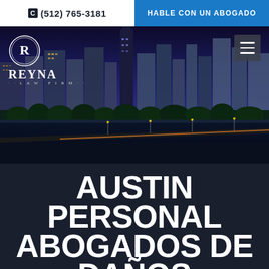(512) 765-3181 | HABLE CON UN ABOGADO
[Figure (screenshot): Reyna Law Firm website header with Austin Texas city skyline at dusk, featuring the Reyna Law Firm logo on the left and a hamburger menu icon on the right]
AUSTIN PERSONAL ABOGADOS DE DAÑOS